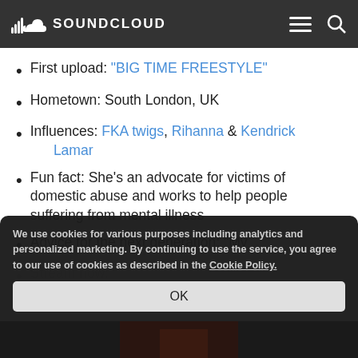SOUNDCLOUD
First upload: "BIG TIME FREESTYLE"
Hometown: South London, UK
Influences: FKA twigs, Rihanna & Kendrick Lamar
Fun fact: She's an advocate for victims of domestic abuse and works to help people suffering from mental illness
Advice for the next generation: "My advice is for you to be the positive change that you want to see"
Stream now: "..."
We use cookies for various purposes including analytics and personalized marketing. By continuing to use the service, you agree to our use of cookies as described in the Cookie Policy.